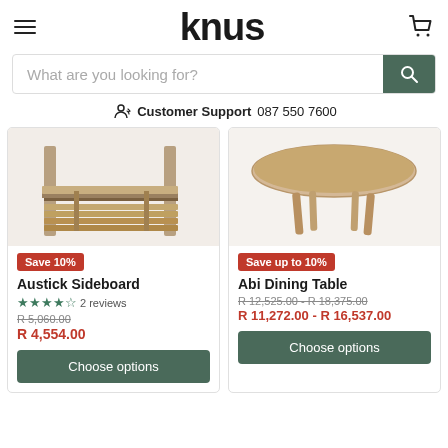knus
What are you looking for?
Customer Support 087 550 7600
[Figure (photo): Partial view of a wooden sideboard/shelf unit]
Save 10%
Austick Sideboard
★★★★☆ 2 reviews
R 5,060.00
R 4,554.00
Choose options
[Figure (photo): Oval wooden dining table with four legs on white background]
Save up to 10%
Abi Dining Table
R 12,525.00 - R 18,375.00
R 11,272.00 - R 16,537.00
Choose options